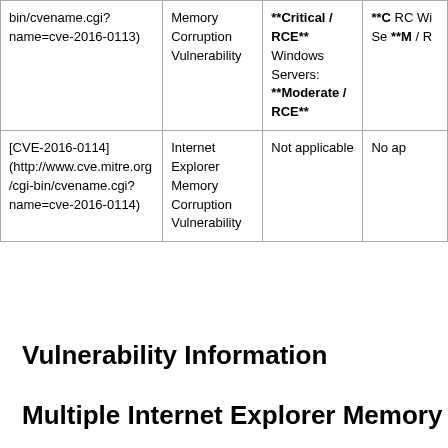| bin/cvename.cgi?name=cve-2016-0113) | Memory Corruption Vulnerability | **Critical / RCE** Windows Servers: **Moderate / RCE** | **C RC Wi Se **M / R |
| [CVE-2016-0114] (http://www.cve.mitre.org/cgi-bin/cvename.cgi?name=cve-2016-0114) | Internet Explorer Memory Corruption Vulnerability | Not applicable | No ap |
Vulnerability Information
Multiple Internet Explorer Memory